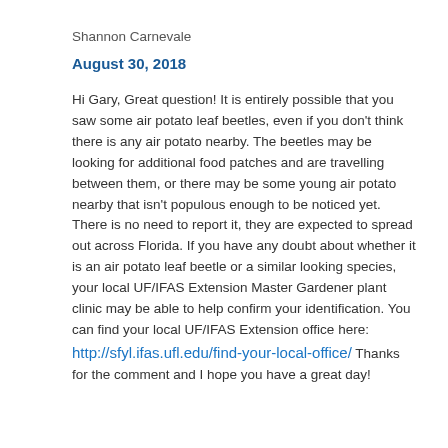Shannon Carnevale
August 30, 2018
Hi Gary, Great question! It is entirely possible that you saw some air potato leaf beetles, even if you don't think there is any air potato nearby. The beetles may be looking for additional food patches and are travelling between them, or there may be some young air potato nearby that isn't populous enough to be noticed yet. There is no need to report it, they are expected to spread out across Florida. If you have any doubt about whether it is an air potato leaf beetle or a similar looking species, your local UF/IFAS Extension Master Gardener plant clinic may be able to help confirm your identification. You can find your local UF/IFAS Extension office here: http://sfyl.ifas.ufl.edu/find-your-local-office/ Thanks for the comment and I hope you have a great day!